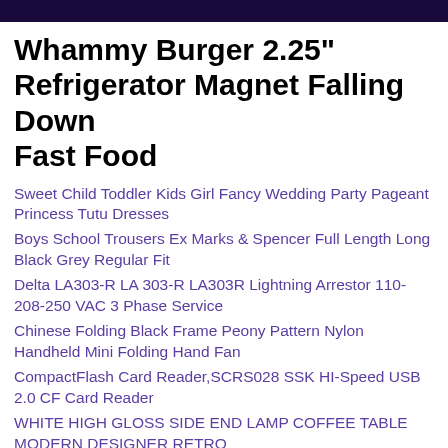Whammy Burger 2.25" Refrigerator Magnet Falling Down Fast Food
Sweet Child Toddler Kids Girl Fancy Wedding Party Pageant Princess Tutu Dresses
Boys School Trousers Ex Marks & Spencer Full Length Long Black Grey Regular Fit
Delta LA303-R LA 303-R LA303R Lightning Arrestor 110-208-250 VAC 3 Phase Service
Chinese Folding Black Frame Peony Pattern Nylon Handheld Mini Folding Hand Fan
CompactFlash Card Reader,SCRS028 SSK HI-Speed USB 2.0 CF Card Reader
WHITE HIGH GLOSS SIDE END LAMP COFFEE TABLE MODERN DESIGNER RETRO
40x Grey 6" x 9" Mailing Bags Strong Parcel Postage Plastic Post Poly Self Seal